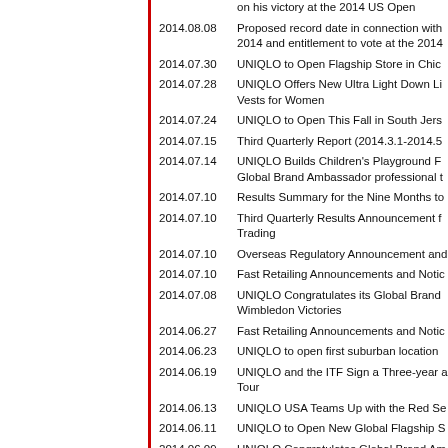2014.08.08 – on his victory at the 2014 US Open
2014.08.08 – Proposed record date in connection with 2014 and entitlement to vote at the 2014
2014.07.30 – UNIQLO to Open Flagship Store in Chic
2014.07.28 – UNIQLO Offers New Ultra Light Down Li Vests for Women
2014.07.24 – UNIQLO to Open This Fall in South Jers
2014.07.15 – Third Quarterly Report (2014.3.1-2014.5
2014.07.14 – UNIQLO Builds Children's Playground F Global Brand Ambassador professional t
2014.07.10 – Results Summary for the Nine Months to
2014.07.10 – Third Quarterly Results Announcement f Trading
2014.07.10 – Overseas Regulatory Announcement and
2014.07.10 – Fast Retailing Announcements and Notic
2014.07.08 – UNIQLO Congratulates its Global Brand Wimbledon Victories
2014.06.27 – Fast Retailing Announcements and Notic
2014.06.23 – UNIQLO to open first suburban location
2014.06.19 – UNIQLO and the ITF Sign a Three-year a Tour
2014.06.13 – UNIQLO USA Teams Up with the Red Se
2014.06.11 – UNIQLO to Open New Global Flagship S
2014.06.09 – UNIQLO Congratulates Global Brand Am Latest Victory Marks 20th Grand Slam W
2014.05.21 – Fast Retailing Support for Serbia Flood F